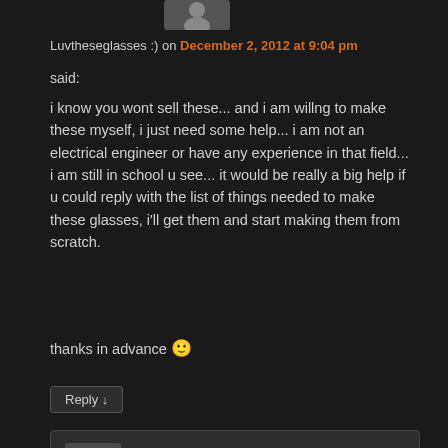[Figure (photo): User avatar thumbnail at top]
Luvtheseglasses :) on December 2, 2012 at 9:04 pm
said:
i know you wont sell these... and i am willng to make these myself, i just need some help... i am not an electrical engineer or have any experience in that field... i am still in school u see... it would be really a big help if u could reply with the list of things needed to make these glasses, i'll get them and start making them from scratch.
thanks in advance 🙂
Reply ↓
[Figure (photo): Nested commenter avatar]
ch00f on December 2, 2012 at 11:22 pm said:
Take a look at the schematic. Everything